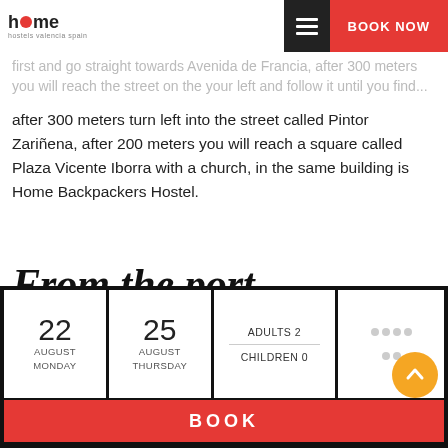home hostels valencia spain | BOOK NOW
first and go straight towards Avenida de Francia, after 300 meters you will reach the street...
after 300 meters turn left into the street called Pintor Zariñena, after 200 meters you will reach a square called Plaza Vicente Iborra with a church, in the same building is Home Backpackers Hostel.
From the port
Once outside the port, go straight towards Avenida de Francia (5 minutes walk) and catch bus no.19. Get off at Plaza del Ayuntamiento. Walk past the fountain (leaving it on right-hand side) until you get to Citibank. Here, take the left
| Check-in | Check-out | Guests |  |
| --- | --- | --- | --- |
| 22
AUGUST
MONDAY | 25
AUGUST
THURSDAY | ADULTS 2
CHILDREN 0 | ... |